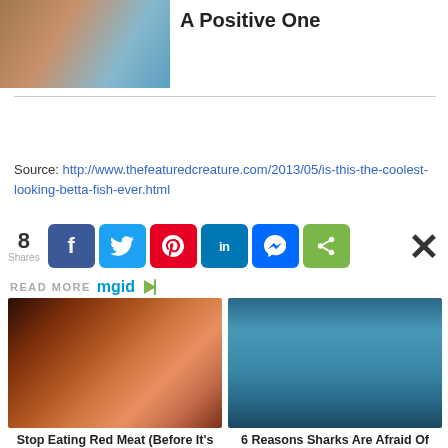[Figure (photo): Partial view of two people, seen from behind, outdoors near water]
A Positive One
Source: http://www.thefeaturedcreature.com/2013/05/is-this-the-coolest-looking-betta-fish-ever.html
[Figure (infographic): Social share bar showing 8 Shares with Facebook, Twitter, Pinterest, LinkedIn, Messenger, and share buttons]
READ MORE mgid
[Figure (photo): Close-up of grilled red meat steak with fork]
Stop Eating Red Meat (Before It's Too Late)
[Figure (photo): Shark leaping out of ocean water with mouth open]
6 Reasons Sharks Are Afraid Of Dolphins